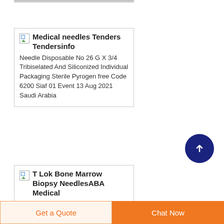Medical needles Tenders Tendersinfo
Needle Disposable No 26 G X 3/4 Tribiselated And Siliconized Individual Packaging Sterile Pyrogen free Code 6200 Siaf 01 Event 13 Aug 2021 Saudi Arabia
T Lok Bone Marrow Biopsy NeedlesABA Medical